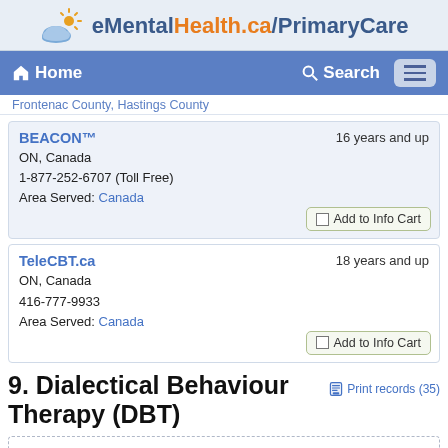eMentalHealth.ca/PrimaryCare
Home   Search
Frontenac County, Hastings County
BEACON™
ON, Canada
1-877-252-6707 (Toll Free)
Area Served: Canada
16 years and up
Add to Info Cart
TeleCBT.ca
ON, Canada
416-777-9933
Area Served: Canada
18 years and up
Add to Info Cart
9. Dialectical Behaviour Therapy (DBT)
Print records (35)
Dialectical behavior therapy (DBT) is a comprehensive cognitive-behavioural treatment for complex, difficult to treat